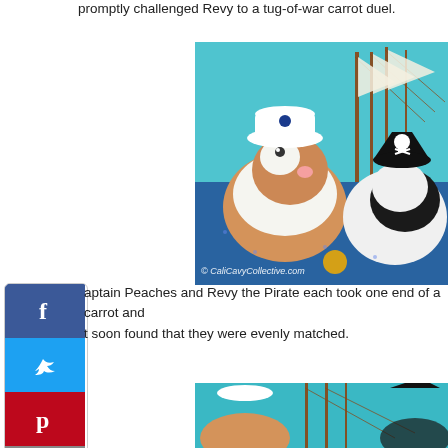promptly challenged Revy to a tug-of-war carrot duel.
[Figure (photo): Two guinea pigs dressed in costumes (one in a white sailor hat, one in a black pirate hat) facing each other near a model tall ship on a blue sequined background. Watermark: © CaliCavyCollective.com]
aptain Peaches and Revy the Pirate each took one end of a carrot and soon found that they were evenly matched.
[Figure (photo): Partial view of two guinea pigs in costume near a model tall ship on teal background (second photo, partially visible)]